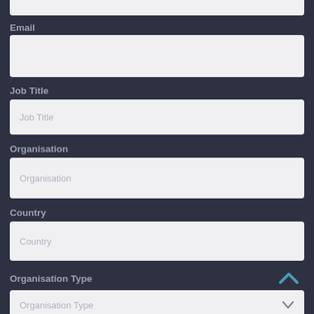Email
Job Title
Job Title
Organisation
Organisation
Country
Country
Organisation Type
Organisation Type